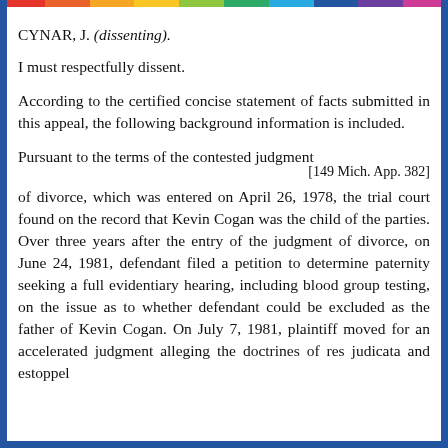CYNAR, J. (dissenting).
I must respectfully dissent.
According to the certified concise statement of facts submitted in this appeal, the following background information is included.
Pursuant to the terms of the contested judgment [149 Mich. App. 382] of divorce, which was entered on April 26, 1978, the trial court found on the record that Kevin Cogan was the child of the parties. Over three years after the entry of the judgment of divorce, on June 24, 1981, defendant filed a petition to determine paternity seeking a full evidentiary hearing, including blood group testing, on the issue as to whether defendant could be excluded as the father of Kevin Cogan. On July 7, 1981, plaintiff moved for an accelerated judgment alleging the doctrines of res judicata and estoppel